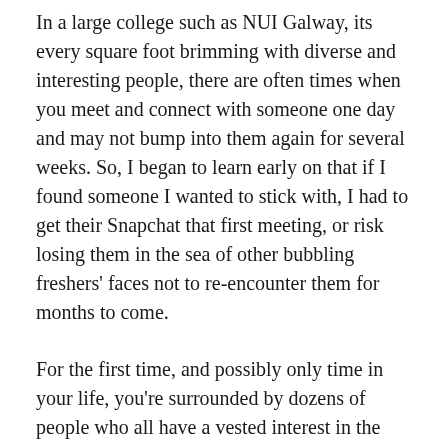In a large college such as NUI Galway, its every square foot brimming with diverse and interesting people, there are often times when you meet and connect with someone one day and may not bump into them again for several weeks. So, I began to learn early on that if I found someone I wanted to stick with, I had to get their Snapchat that first meeting, or risk losing them in the sea of other bubbling freshers' faces not to re-encounter them for months to come.
For the first time, and possibly only time in your life, you're surrounded by dozens of people who all have a vested interest in the very same things you do, whether in your course or in clubs and societies; whoever you surround yourself with is